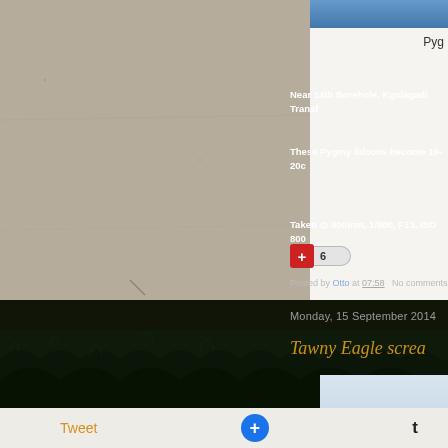[Figure (photo): Sandy/grey ground texture photo (top-left section)]
Near 14th Borehole, Kgalagadi Transf
These Pygmy falcons become 19-20c
Taken @ 800mm, 1/800, F13, ISO 800
6
Pyg
Posted by Otto at 07:58   No comments
[Figure (photo): Dark grass/ground photo with low light (bottom-left and bottom sections)]
Monday, 15 September 2014
Tawny Eagle screa
[Figure (screenshot): Light blue image placeholder box (bottom right)]
Tweet
+
t